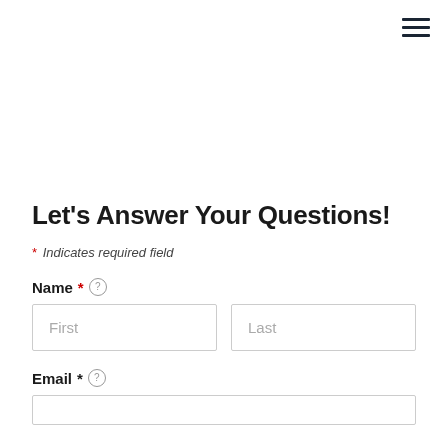[Figure (other): Hamburger menu icon (three horizontal lines) in top-right corner]
Let's Answer Your Questions!
* Indicates required field
Name * (help icon)
First | Last (name input fields)
Email * (help icon)